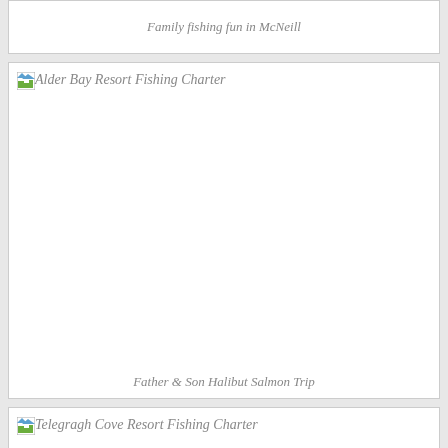Family fishing fun in McNeill
[Figure (photo): Alder Bay Resort Fishing Charter - broken image placeholder with alt text]
Father & Son Halibut Salmon Trip
[Figure (photo): Telegragh Cove Resort Fishing Charter - broken image placeholder with alt text]